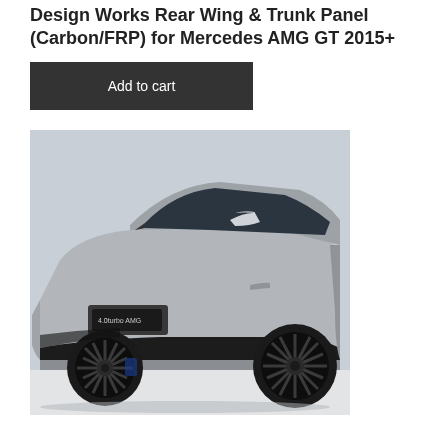Design Works Rear Wing & Trunk Panel (Carbon/FRP) for Mercedes AMG GT 2015+
Add to cart
[Figure (photo): Side profile photo of a silver Mercedes AMG GT 2015+ with wide-body carbon fiber body kit, large black alloy wheels, and lowered suspension on a white background.]